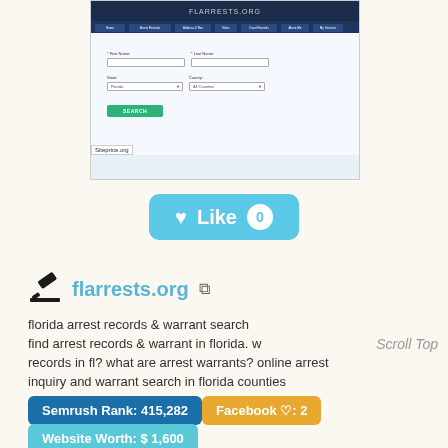[Figure (screenshot): Screenshot of flarrests.org website showing a search form with First Name, Last Name, State, and County fields, a green SEARCH button, and a dark navigation bar at the top. Siteprice.org watermark in bottom-left corner.]
[Figure (other): Light blue 'Like 0' button with a heart icon and a white circle showing '0']
flarrests.org
florida arrest records & warrant search find arrest records & warrant in florida. w records in fl? what are arrest warrants? online arrest inquiry and warrant search in florida counties
Scroll Top
Semrush Rank: 415,282
Facebook ♡: 2
Website Worth: $ 1,600